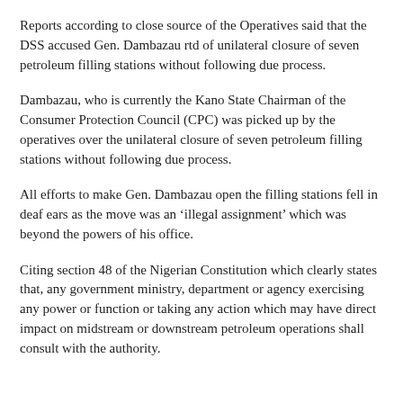Reports according to close source of the Operatives said that the DSS accused Gen. Dambazau rtd of unilateral closure of seven petroleum filling stations without following due process.
Dambazau, who is currently the Kano State Chairman of the Consumer Protection Council (CPC) was picked up by the operatives over the unilateral closure of seven petroleum filling stations without following due process.
All efforts to make Gen. Dambazau open the filling stations fell in deaf ears as the move was an ‘illegal assignment’ which was beyond the powers of his office.
Citing section 48 of the Nigerian Constitution which clearly states that, any government ministry, department or agency exercising any power or function or taking any action which may have direct impact on midstream or downstream petroleum operations shall consult with the authority.